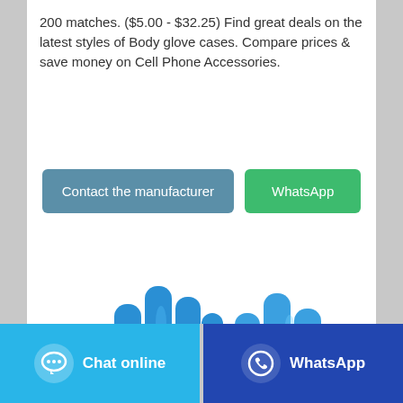200 matches. ($5.00 - $32.25) Find great deals on the latest styles of Body glove cases. Compare prices & save money on Cell Phone Accessories.
[Figure (photo): Two blue nitrile/latex gloves displayed with fingers spread open]
[Figure (screenshot): Two call-to-action buttons: 'Contact the manufacturer' (blue-grey) and 'WhatsApp' (green)]
[Figure (screenshot): Footer bar with two buttons: 'Chat online' (light blue with chat bubble icon) and 'WhatsApp' (dark blue with WhatsApp icon)]